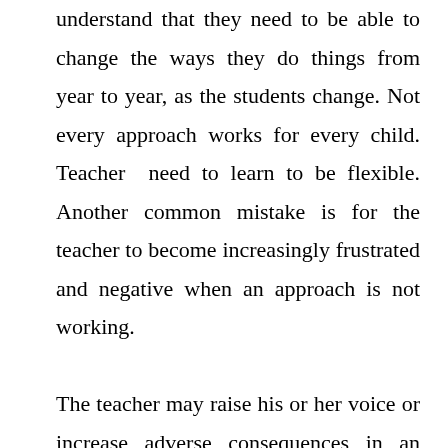understand that they need to be able to change the ways they do things from year to year, as the students change. Not every approach works for every child. Teacher need to learn to be flexible. Another common mistake is for the teacher to become increasingly frustrated and negative when an approach is not working.

The teacher may raise his or her voice or increase adverse consequences in an effort to make the approach work. This type of interaction may impair the teacher-student relationship. Instead of allowing this to happen, it is often better to simply try a new